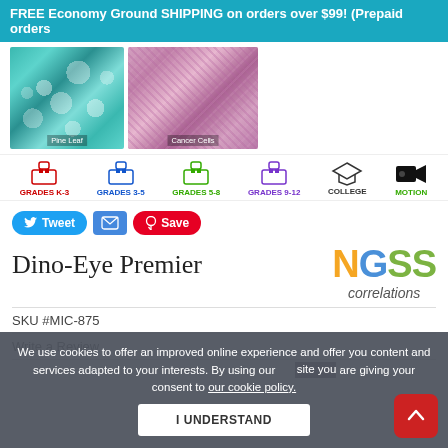FREE Economy Ground SHIPPING on orders over $99! (Prepaid orders
[Figure (photo): Microscope image of pine leaf cross-section (teal/green colors) with label 'Pine Leaf']
[Figure (photo): Microscope image of cancer cells (pink/purple colors) with label 'Cancer Cells']
[Figure (infographic): Grade level icons: GRADES K-3 (red), GRADES 3-5 (blue), GRADES 5-8 (green), GRADES 9-12 (purple), COLLEGE, MOTION]
[Figure (infographic): Social sharing buttons: Tweet, email, Save (Pinterest)]
Dino-Eye Premier
[Figure (logo): NGSS correlations logo with colored letters N (orange), G (blue), SS (green) and 'correlations' in italic below]
SKU #MIC-875
Write a Review
We use cookies to offer an improved online experience and offer you content and services adapted to your interests. By using our site you are giving your consent to our cookie policy.